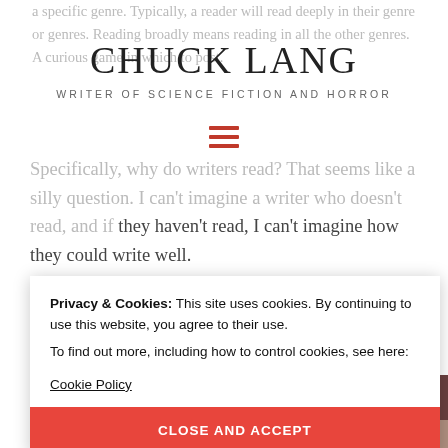a specific genre. Typically, a reader will read deeply in their genre or genres. Reading broadly means reading in all the other genres. A curious game in which to post.
CHUCK LANG
WRITER OF SCIENCE FICTION AND HORROR
Specifically, why do writers read? That seems like a silly question. I can't imagine a writer who doesn't read, and if they haven't read, I can't imagine how they could write well.
[Figure (photo): Photo of books on a shelf, spine view, with red and dark colored book covers visible]
Privacy & Cookies: This site uses cookies. By continuing to use this website, you agree to their use.
To find out more, including how to control cookies, see here:
Cookie Policy
CLOSE AND ACCEPT